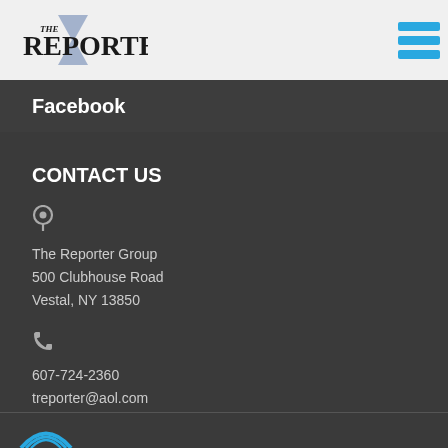[Figure (logo): The Reporter newspaper logo with a blue Star of David in the background and bold serif text reading THE REPORTER]
[Figure (other): Hamburger menu icon with three horizontal cyan/blue bars]
Facebook
CONTACT US
The Reporter Group
500 Clubhouse Road
Vestal, NY 13850
607-724-2360
treporter@aol.com